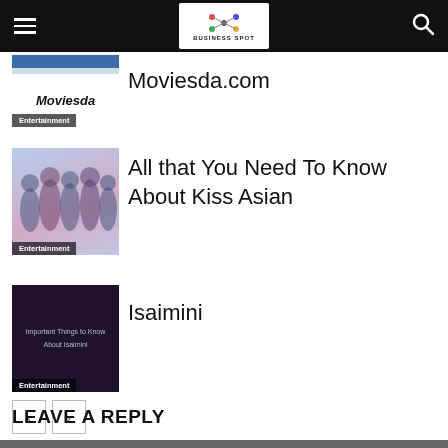Business Spot
[Figure (screenshot): Moviesda website screenshot thumbnail with Entertainment tag]
Moviesda.com
[Figure (photo): Group of people (Kiss Asian drama style) with Entertainment tag]
All that You Need To Know About Kiss Asian
[Figure (screenshot): Isaimini important things thumbnail with Entertainment tag]
Isaimini
← →
LEAVE A REPLY